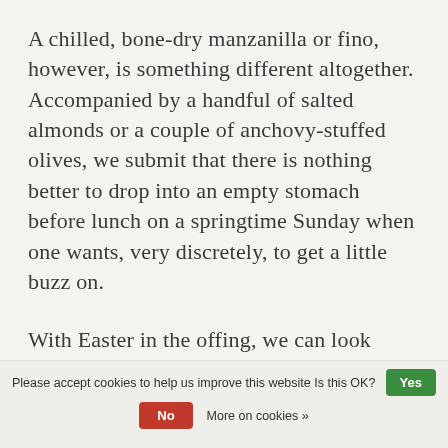A chilled, bone-dry manzanilla or fino, however, is something different altogether. Accompanied by a handful of salted almonds or a couple of anchovy-stuffed olives, we submit that there is nothing better to drop into an empty stomach before lunch on a springtime Sunday when one wants, very discretely, to get a little buzz on.
With Easter in the offing, we can look forward to that somewhat bewildering but undeniably appetising dual prospect of lambs frolicking in the fields
Please accept cookies to help us improve this website Is this OK? Yes No More on cookies »